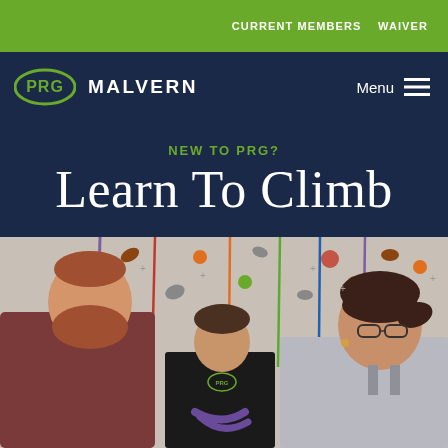CURRENT MEMBERS   WAIVER
PRG MALVERN
Menu
NEW TO PRG?
Learn To Climb
[Figure (photo): Three people at an indoor climbing gym. A bearded man in a maroon shirt on the left, an instructor in a black PRG shirt in the center holding climbing rope, and a woman with glasses and dark hair in a ponytail on the right. The climbing wall behind them has colorful holds and ropes.]